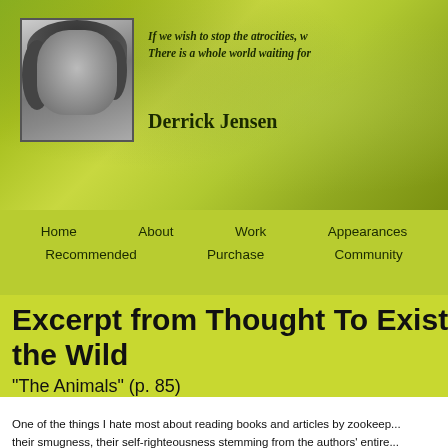[Figure (photo): Black and white headshot photo of Derrick Jensen, a man with curly dark hair]
If we wish to stop the atrocities, w... There is a whole world waiting for...
Derrick Jensen
[Figure (screenshot): Website navigation bar with links: Home, About, Work, Appearances, Recommended, Purchase, Community]
Excerpt from Thought To Exist in the Wild
"The Animals" (p. 85)
One of the things I hate most about reading books and articles by zookeep... their smugness, their self-righteousness stemming from the authors' entire... humans are superior to and fundamentally different and separate from "th...